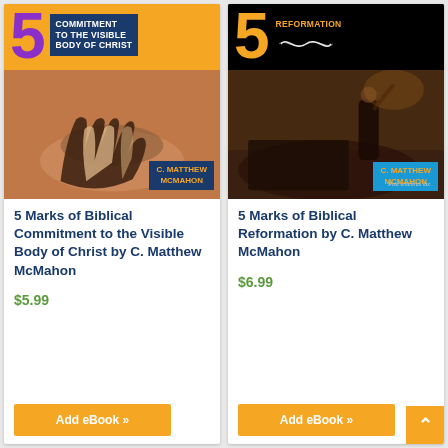[Figure (illustration): Book cover: 5 Marks of Biblical Commitment to the Visible Body of Christ by C. Matthew McMahon. Orange top with large purple '5', dark blue title box, photo of diverse hands stacked together, author name tag.]
5 Marks of Biblical Commitment to the Visible Body of Christ by C. Matthew McMahon
$5.99
Add eBook »
[Figure (illustration): Book cover: 5 Marks of Biblical Reformation by C. Matthew McMahon. Black top with large gold '5' and scroll ornament, painting of Reformation scene, blue author tag with gold text.]
5 Marks of Biblical Reformation by C. Matthew McMahon
$6.99
Add eBook »